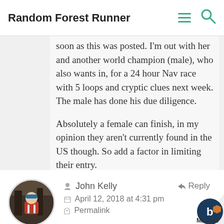Random Forest Runner
(female) who obviously follows your blog, who messaged by her almost as soon as this was posted. I'm out with her and another world champion (male), who also wants in, for a 24 hour Nav race with 5 loops and cryptic clues next week. The male has done his due diligence.

Absolutely a female can finish, in my opinion they aren't currently found in the US though. So add a factor in limiting their entry.
Reply
John Kelly
April 12, 2018 at 4:31 pm
Permalink